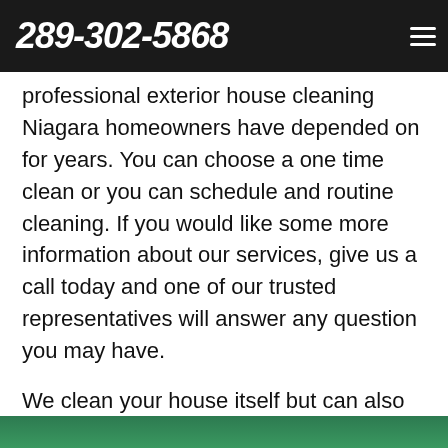289-302-5868
professional exterior house cleaning Niagara homeowners have depended on for years. You can choose a one time clean or you can schedule and routine cleaning. If you would like some more information about our services, give us a call today and one of our trusted representatives will answer any question you may have.
We clean your house itself but can also take care of other things on your property. For example, we offer professional fence power washing Niagara locals greatly appreciate. Keeping your entire property clean is what we do best!